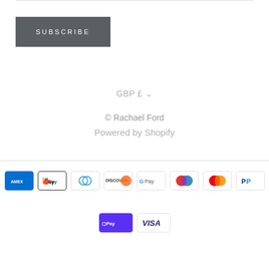SUBSCRIBE
GBP £ ∨
© Rachael Ford
Powered by Shopify
[Figure (other): Payment method icons: American Express, Apple Pay, Diners Club, Discover, Google Pay, Maestro, Mastercard, PayPal, Shop Pay, Visa]